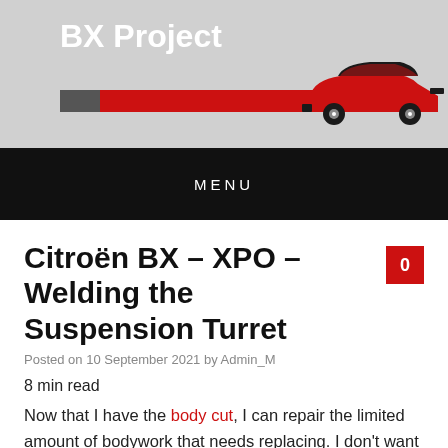BX Project
[Figure (illustration): BX Project website header banner with gray background, bold white 'BX Project' title, a gray and red horizontal bar with a red car silhouette illustration on the right side]
MENU
Citroën BX – XPO – Welding the Suspension Turret
Posted on 10 September 2021 by Admin_M
8 min read
Now that I have the body cut, I can repair the limited amount of bodywork that needs replacing. I don't want to start with replacing the A-Pillar sections that I found in the original inspection. I'm a bit paranoid about warning